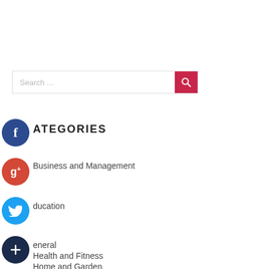[Figure (screenshot): Search input box with placeholder text 'Search ...' and a red/crimson search button with a magnifying glass icon]
CATEGORIES
Business and Management
Education
General
Health and Fitness
Home and Garden